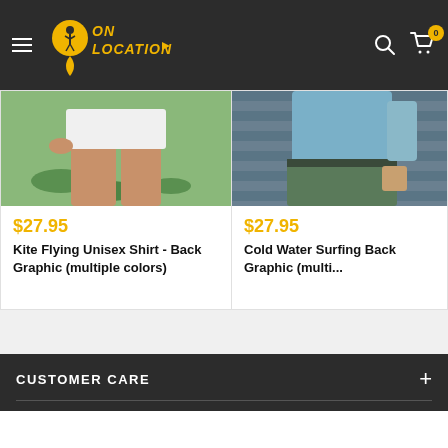On Location - navigation header with logo, search, and cart icons
[Figure (photo): Product photo - woman in white shorts near lily pond, partial view of lower body]
$27.95
Kite Flying Unisex Shirt - Back Graphic (multiple colors)
[Figure (photo): Product photo - person in blue shirt and jeans, partial view of torso]
$27.95
Cold Water Surfing Back Graphic (multi...
CUSTOMER CARE